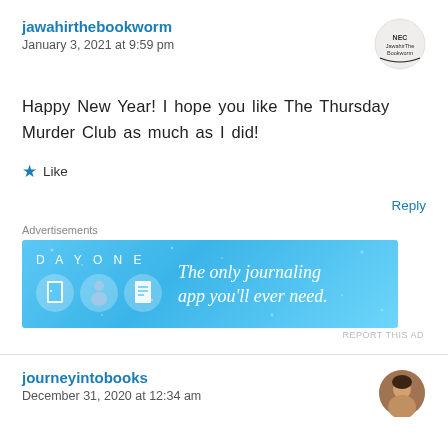jawahirthebookworm
January 3, 2021 at 9:59 pm
[Figure (illustration): Small circular avatar/logo for jawahirthebookworm user]
Happy New Year! I hope you like The Thursday Murder Club as much as I did!
★ Like
Reply
Advertisements
[Figure (other): Day One journaling app advertisement banner with blue background, icons, and text: The only journaling app you'll ever need.]
REPORT THIS AD
journeyintobooks
December 31, 2020 at 12:34 am
[Figure (photo): Small circular avatar photo of journeyintobooks user]